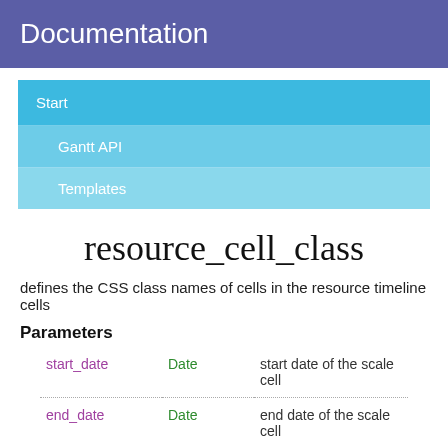Documentation
Start
Gantt API
Templates
resource_cell_class
defines the CSS class names of cells in the resource timeline cells
Parameters
|  |  |  |
| --- | --- | --- |
| start_date | Date | start date of the scale cell |
| end_date | Date | end date of the scale cell |
| resource | object | the resource object |
|  |  | tasks that are assigned to specified |